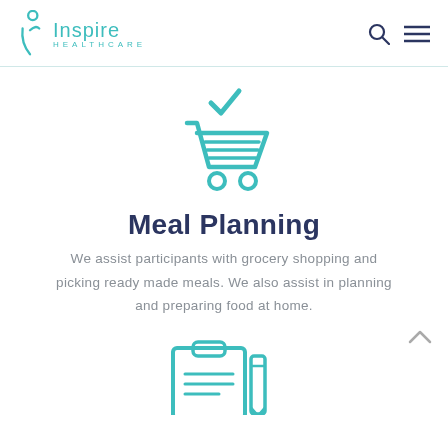Inspire Healthcare
[Figure (illustration): Teal shopping cart icon with a checkmark above it]
Meal Planning
We assist participants with grocery shopping and picking ready made meals. We also assist in planning and preparing food at home.
[Figure (illustration): Teal clipboard/document icon partially visible at bottom]